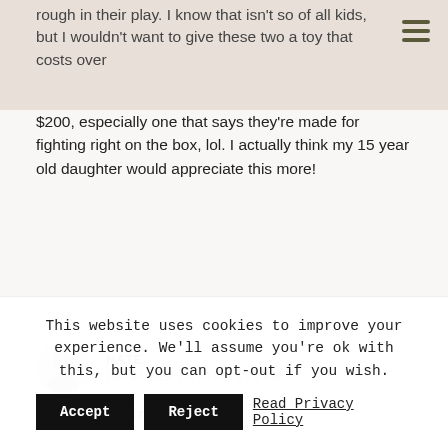rough in their play. I know that isn't so of all kids, but I wouldn't want to give these two a toy that costs over $200, especially one that says they're made for fighting right on the box, lol. I actually think my 15 year old daughter would appreciate this more!
NATE
DECEMBER 16, 2018 / 6:29 PM
nice learning toy
This website uses cookies to improve your experience. We'll assume you're ok with this, but you can opt-out if you wish. Accept  Reject  Read Privacy Policy